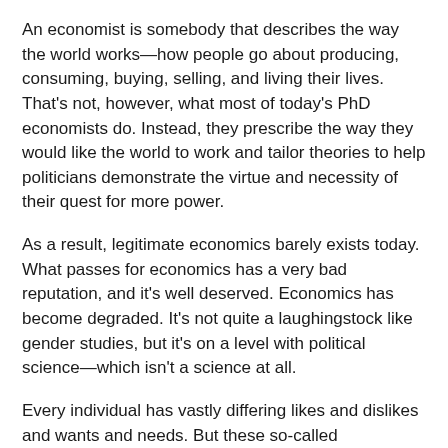An economist is somebody that describes the way the world works—how people go about producing, consuming, buying, selling, and living their lives. That's not, however, what most of today's PhD economists do. Instead, they prescribe the way they would like the world to work and tailor theories to help politicians demonstrate the virtue and necessity of their quest for more power.
As a result, legitimate economics barely exists today. What passes for economics has a very bad reputation, and it's well deserved. Economics has become degraded. It's not quite a laughingstock like gender studies, but it's on a level with political science—which isn't a science at all.
Every individual has vastly differing likes and dislikes and wants and needs. But these so-called economists like to treat people as if they were standardized atoms. They think they can manipulate people as if they were chemicals and treat the economy as something they can heat up or cool down. And they're the ones who decide what the masses need.
Economics has become an excuse for central planning, and economists have become social engineers.